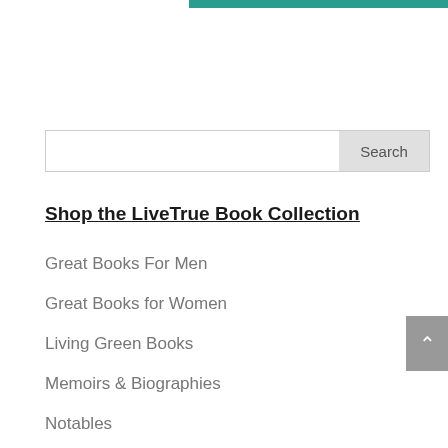[Figure (other): Teal/green horizontal bar at top right of page]
[Figure (other): Search input box with Search button on the right]
Shop the LiveTrue Book Collection
Great Books For Men
Great Books for Women
Living Green Books
Memoirs & Biographies
Notables